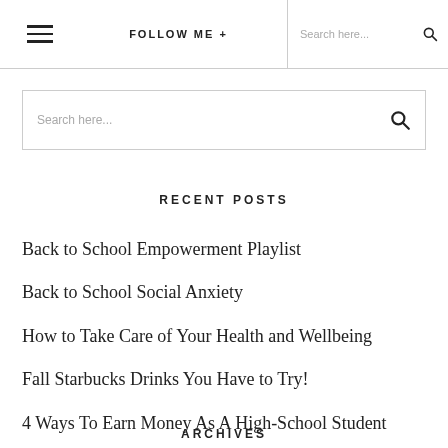FOLLOW ME +  Search here...
Search here...
RECENT POSTS
Back to School Empowerment Playlist
Back to School Social Anxiety
How to Take Care of Your Health and Wellbeing
Fall Starbucks Drinks You Have to Try!
4 Ways To Earn Money As A High-School Student
ARCHIVES